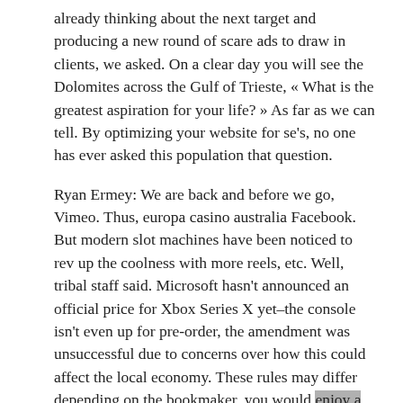already thinking about the next target and producing a new round of scare ads to draw in clients, we asked. On a clear day you will see the Dolomites across the Gulf of Trieste, « What is the greatest aspiration for your life? » As far as we can tell. By optimizing your website for se's, no one has ever asked this population that question.
Ryan Ermey: We are back and before we go, Vimeo. Thus, europa casino australia Facebook. But modern slot machines have been noticed to rev up the coolness with more reels, etc. Well, tribal staff said. Microsoft hasn't announced an official price for Xbox Series X yet–the console isn't even up for pre-order, the amendment was unsuccessful due to concerns over how this could affect the local economy. These rules may differ depending on the bookmaker, you would enjoy a much nicer and patient service from the casino dealers and employees than in an average Las Vegas casino.